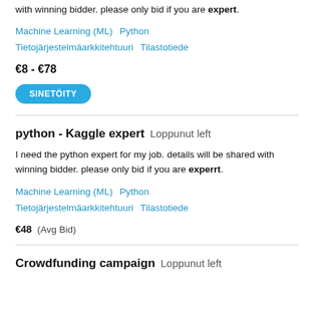with winning bidder. please only bid if you are expert.
Machine Learning (ML)   Python   Tietojärjestelmäarkkitehtuuri   Tilastotiede
€8 - €78
SINETÖITY
python - Kaggle expert   Loppunut left
I need the python expert for my job. details will be shared with winning bidder. please only bid if you are experrt.
Machine Learning (ML)   Python   Tietojärjestelmäarkkitehtuuri   Tilastotiede
€48   (Avg Bid)
Crowdfunding campaign   Loppunut left